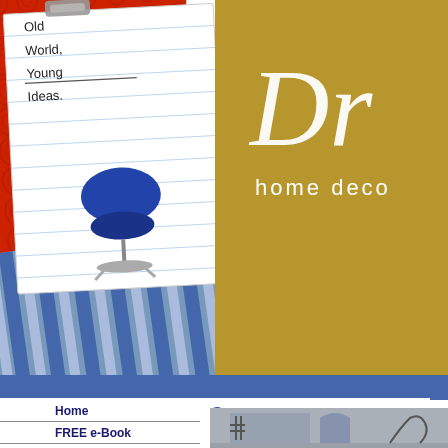[Figure (screenshot): Home decor website header featuring collage of fabric swatches (red embossed, blue striped), a white notepad card with 'Old World, Young Ideas.' text and a modern blue chair photo, a blue floral pattern card, a gold/tan banner with cursive 'Dr' logo and 'home deco' text, and a blue navigation bar.]
Home
FREE e-Book
Blog
Newsletter
Before & After
Color Schemes
Search This Site
Contact
Grey, gre
(L
[Figure (photo): Interior room photo showing a grey room with arched doorway, spiral staircase, window with decorative ironwork, and bird silhouette on wall.]